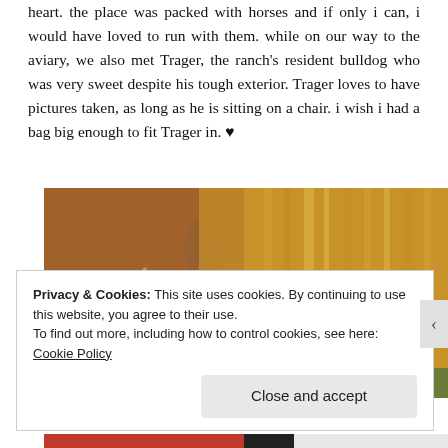heart. the place was packed with horses and if only i can, i would have loved to run with them. while on our way to the aviary, we also met Trager, the ranch's resident bulldog who was very sweet despite his tough exterior. Trager loves to have pictures taken, as long as he is sitting on a chair. i wish i had a bag big enough to fit Trager in. ♥
[Figure (photo): Close-up photograph of a brown horse with a golden blonde mane, grazing or lowering its head. Another horse is partially visible in the background. Green grass is visible in the background.]
Privacy & Cookies: This site uses cookies. By continuing to use this website, you agree to their use. To find out more, including how to control cookies, see here: Cookie Policy
Close and accept